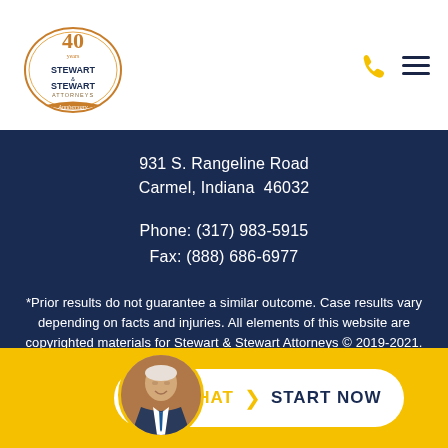[Figure (logo): Stewart & Stewart Attorneys 40th Anniversary logo with decorative oval frame]
931 S. Rangeline Road
Carmel, Indiana  46032
Phone: (317) 983-5915
Fax: (888) 686-6977
*Prior results do not guarantee a similar outcome. Case results vary depending on facts and injuries. All elements of this website are copyrighted materials for Stewart & Stewart Attorneys © 2019-2021.
[Figure (photo): Circular avatar photo of a smiling older man in a suit]
LIVE CHAT  START NOW